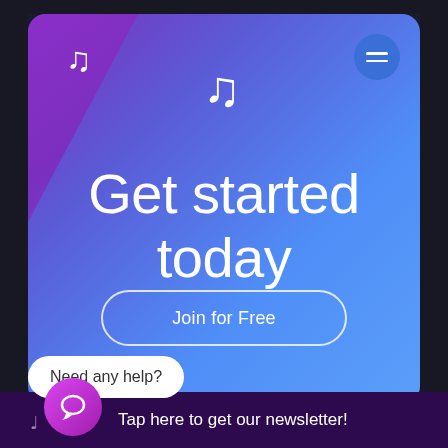[Figure (screenshot): Music app promotional screen with gradient purple-blue background, musical notes, large headline text 'Get started today', a 'Join for Free' button, a 'Need any help?' chat bubble, a circular chat icon, and a bottom banner saying 'Tap here to get our newsletter!']